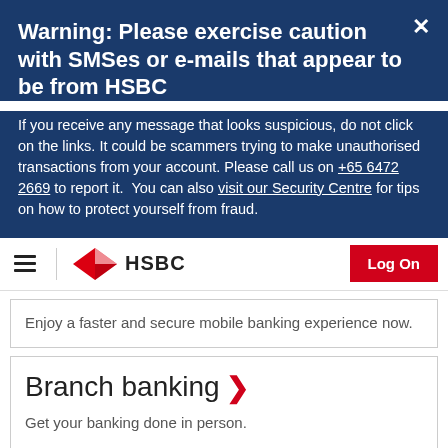Warning: Please exercise caution with SMSes or e-mails that appear to be from HSBC
If you receive any message that looks suspicious, do not click on the links. It could be scammers trying to make unauthorised transactions from your account. Please call us on +65 6472 2669 to report it.  You can also visit our Security Centre for tips on how to protect yourself from fraud.
[Figure (logo): HSBC logo with hamburger menu and Log On button navigation bar]
Enjoy a faster and secure mobile banking experience now.
Branch banking >
Get your banking done in person.